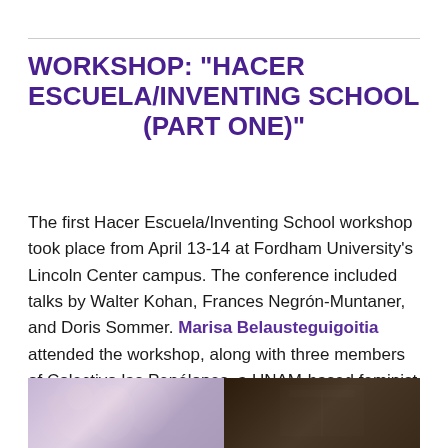WORKSHOP: "HACER ESCUELA/INVENTING SCHOOL (PART ONE)"
The first Hacer Escuela/Inventing School workshop took place from April 13-14 at Fordham University's Lincoln Center campus. The conference included talks by Walter Kohan, Frances Negrón-Muntaner, and Doris Sommer. Marisa Belausteguigoitia attended the workshop, along with three members of Colectivo las Penélopes, a UNAM-based feminist collective. Click here for the conference website.
[Figure (photo): Two-panel photo strip at the bottom of the page. Left panel shows a blurred group of people with soft purple/pink tones. Right panel shows a dark interior scene.]